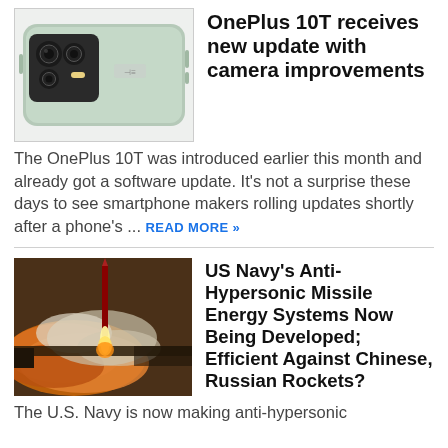[Figure (photo): OnePlus 10T smartphone shown from the back, green color, with camera module visible]
OnePlus 10T receives new update with camera improvements
The OnePlus 10T was introduced earlier this month and already got a software update. It's not a surprise these days to see smartphone makers rolling updates shortly after a phone's ... READ MORE »
[Figure (photo): Missile launch with large orange smoke and fire cloud, rockets visible ascending]
US Navy's Anti-Hypersonic Missile Energy Systems Now Being Developed; Efficient Against Chinese, Russian Rockets?
The U.S. Navy is now making anti-hypersonic